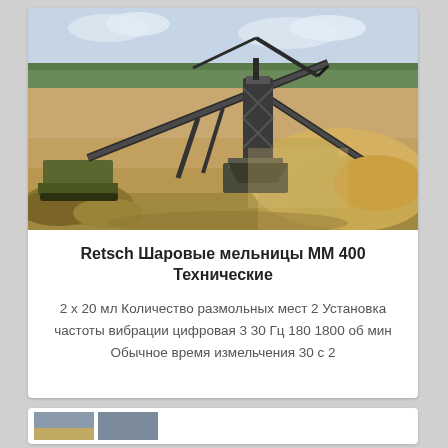[Figure (photo): Industrial mining/crushing equipment with conveyor belts and cranes on a sandy construction site with trees in background]
Retsch Шаровые мельницы ММ 400 Технические
2 x 20 мл Количество размольных мест 2 Установка частоты вибрации цифровая 3 30 Гц 180 1800 об мин Обычное время измельчения 30 с 2
[Figure (photo): Partially visible second card at bottom of page]